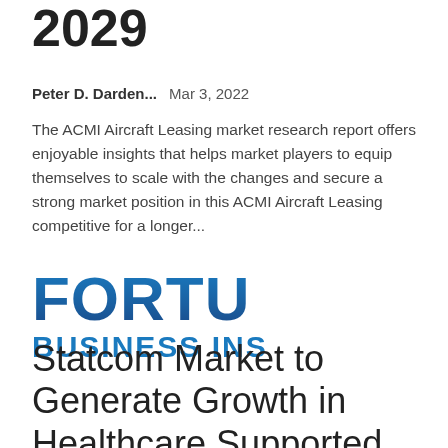2029
Peter D. Darden...   Mar 3, 2022
The ACMI Aircraft Leasing market research report offers enjoyable insights that helps market players to equip themselves to scale with the changes and secure a strong market position in this ACMI Aircraft Leasing competitive for a longer...
[Figure (logo): Fortune Business Insights logo — partial, showing 'FORTU' in large bold blue gradient text and 'BUSINESS INS' in bold blue text below]
Statcom Market to Generate Growth in Healthcare Supported by